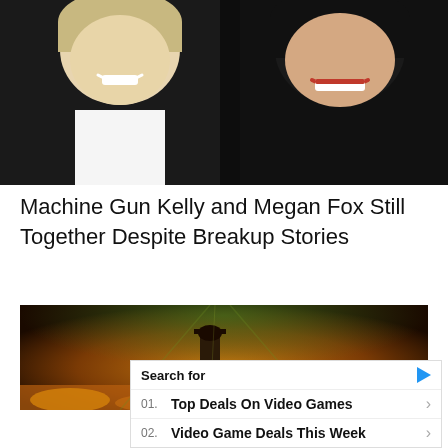[Figure (photo): Close-up photo of two people smiling — a light-haired man on the left and a dark-haired woman on the right, against a dark background]
Machine Gun Kelly and Megan Fox Still Together Despite Breakup Stories
[Figure (screenshot): Dark atmospheric video frame showing a figure in a hat on a stage with dramatic orange/green lighting and sparks]
Search for
01. Top Deals On Video Games
02. Video Game Deals This Week
Yahoo! Search | Sponsored